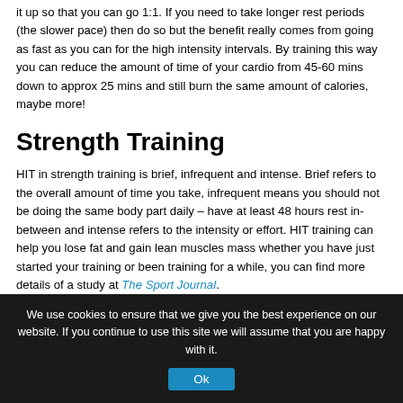it up so that you can go 1:1. If you need to take longer rest periods (the slower pace) then do so but the benefit really comes from going as fast as you can for the high intensity intervals. By training this way you can reduce the amount of time of your cardio from 45-60 mins down to approx 25 mins and still burn the same amount of calories, maybe more!
Strength Training
HIT in strength training is brief, infrequent and intense. Brief refers to the overall amount of time you take, infrequent means you should not be doing the same body part daily – have at least 48 hours rest in-between and intense refers to the intensity or effort. HIT training can help you lose fat and gain lean muscles mass whether you have just started your training or been training for a while, you can find more details of a study at The Sport Journal.
HIT is popular not only for those wanting to work out in less time but also for those who have hit a plateau or who have just become bored of their
We use cookies to ensure that we give you the best experience on our website. If you continue to use this site we will assume that you are happy with it.